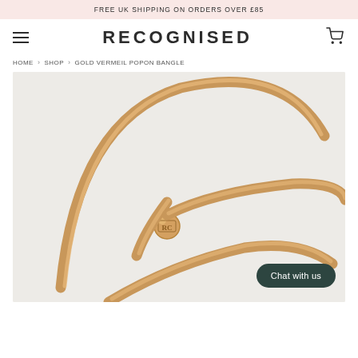FREE UK SHIPPING ON ORDERS OVER £85
RECOGNISED
HOME › SHOP › GOLD VERMEIL POPON BANGLE
[Figure (photo): Close-up photo of a gold vermeil bangle bracelet with a small round branded charm, on a light grey background]
Chat with us